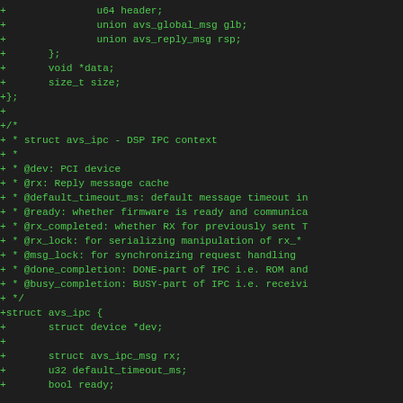+ 			u64 header;
+			union avs_global_msg glb;
+			union avs_reply_msg rsp;
+		};
+		void *data;
+		size_t size;
+};
+
+/*
+ * struct avs_ipc - DSP IPC context
+ *
+ * @dev: PCI device
+ * @rx: Reply message cache
+ * @default_timeout_ms: default message timeout in
+ * @ready: whether firmware is ready and communica
+ * @rx_completed: whether RX for previously sent T
+ * @rx_lock: for serializing manipulation of rx_*
+ * @msg_lock: for synchronizing request handling
+ * @done_completion: DONE-part of IPC i.e. ROM and
+ * @busy_completion: BUSY-part of IPC i.e. receivi
+ */
+struct avs_ipc {
+		struct device *dev;
+
+		struct avs_ipc_msg rx;
+		u32 default_timeout_ms;
+		bool ready;